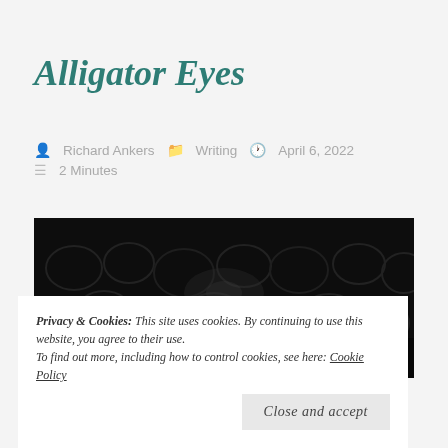Alligator Eyes
Richard Ankers   Writing   April 6, 2022
2 Minutes
[Figure (photo): Dark, close-up photograph of alligator skin texture, very dark with subtle scaly pattern visible]
Privacy & Cookies: This site uses cookies. By continuing to use this website, you agree to their use.
To find out more, including how to control cookies, see here: Cookie Policy
Close and accept